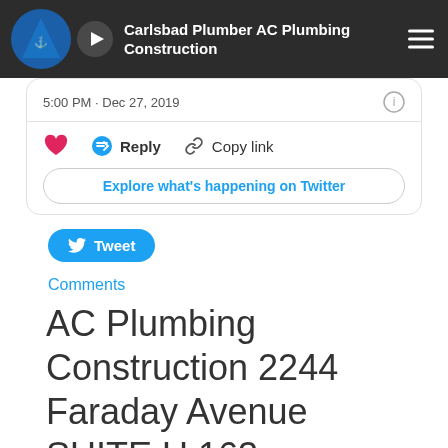Carlsbad Plumber AC Plumbing Construction
5:00 PM · Dec 27, 2019
Reply   Copy link
Explore what's happening on Twitter
Tweet
Comments
AC Plumbing Construction 2244 Faraday Avenue SUITE U 163 Carlsbad CA 92008 (760) 933-8854 http://...